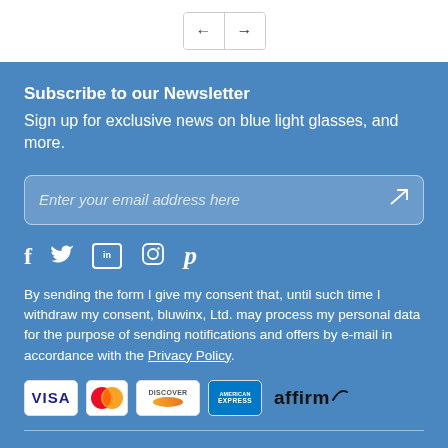[Figure (other): Navigation arrows (left and right) in a bordered button group]
Subscribe to our Newsletter
Sign up for exclusive news on blue light glasses, and more.
[Figure (other): Email input field with placeholder 'Enter your email address here' and a send/paper-plane icon]
[Figure (other): Social media icons: Facebook, Twitter, LinkedIn, Instagram, Pinterest]
By sending the form I give my consent that, until such time I withdraw my consent, bluwinx, Ltd. may process my personal data for the purpose of sending notifications and offers by e-mail in accordance with the Privacy Policy.
[Figure (other): Payment method logos: VISA, Mastercard, Discover, American Express, Affirm]